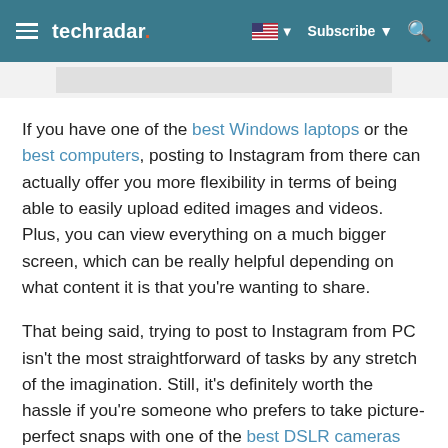techradar — Subscribe
If you have one of the best Windows laptops or the best computers, posting to Instagram from there can actually offer you more flexibility in terms of being able to easily upload edited images and videos. Plus, you can view everything on a much bigger screen, which can be really helpful depending on what content it is that you're wanting to share.
That being said, trying to post to Instagram from PC isn't the most straightforward of tasks by any stretch of the imagination. Still, it's definitely worth the hassle if you're someone who prefers to take picture-perfect snaps with one of the best DSLR cameras instead of a